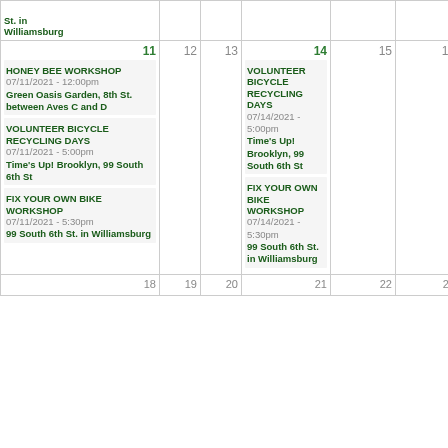| Sun | Mon | Tue | Wed | Thu | Fri | Sat |
| --- | --- | --- | --- | --- | --- | --- |
| St. in Williamsburg |  |  |  |  |  | entrance to the Brooklyn Bridge |
| 11
HONEY BEE WORKSHOP 07/11/2021 - 12:00pm Green Oasis Garden, 8th St. between Aves C and D
VOLUNTEER BICYCLE RECYCLING DAYS 07/11/2021 - 5:00pm Time's Up! Brooklyn, 99 South 6th St
FIX YOUR OWN BIKE WORKSHOP 07/11/2021 - 5:30pm 99 South 6th St. in Williamsburg | 12 | 13 | 14
VOLUNTEER BICYCLE RECYCLING DAYS 07/14/2021 - 5:00pm Time's Up! Brooklyn, 99 South 6th St
FIX YOUR OWN BIKE WORKSHOP 07/14/2021 - 5:30pm 99 South 6th St. in Williamsburg | 15 | 16 | 17
CARMEN'S GARDEN VOLUNTEER DAYS 07/17/2021 - 1:00pm Carmen's Garden, 117 Ave C, btwn 7th & 8th St. |
| 18 | 19 | 20 | 21 | 22 | 23 | 24 |